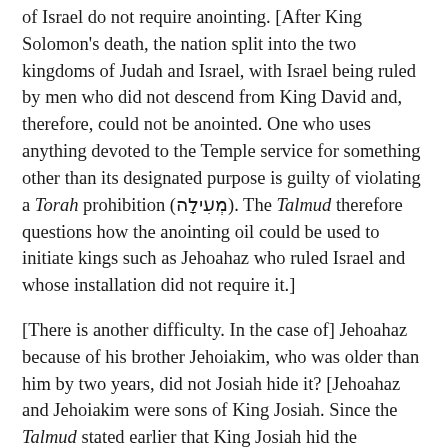of Israel do not require anointing. [After King Solomon's death, the nation split into the two kingdoms of Judah and Israel, with Israel being ruled by men who did not descend from King David and, therefore, could not be anointed. One who uses anything devoted to the Temple service for something other than its designated purpose is guilty of violating a Torah prohibition (מְעִילָה). The Talmud therefore questions how the anointing oil could be used to initiate kings such as Jehoahaz who ruled Israel and whose installation did not require it.]
[There is another difficulty. In the case of] Jehoahaz because of his brother Jehoiakim, who was older than him by two years, did not Josiah hide it? [Jehoahaz and Jehoiakim were sons of King Josiah. Since the Talmud stated earlier that King Josiah hid the anointing oil together with the Ark, how could it have been used on his son?[128]] This means to say that he was anointed with balsam oil [to simulate the way in which a legitimate king is anointed and thus confirm his right to the